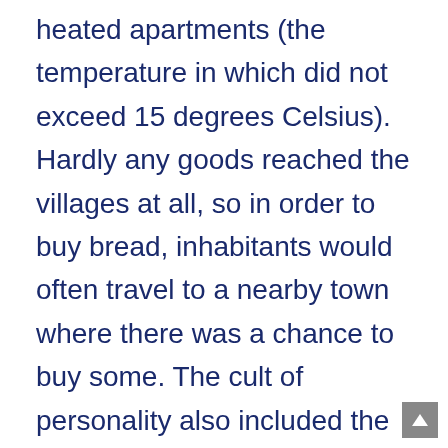heated apartments (the temperature in which did not exceed 15 degrees Celsius). Hardly any goods reached the villages at all, so in order to buy bread, inhabitants would often travel to a nearby town where there was a chance to buy some. The cult of personality also included the wife of the dictator, Elena, who was appointed by Nicolae Ceaușescu to be the second person in the country.